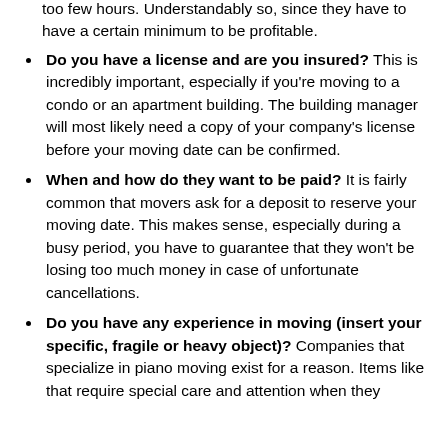too few hours. Understandably so, since they have to have a certain minimum to be profitable.
Do you have a license and are you insured? This is incredibly important, especially if you're moving to a condo or an apartment building. The building manager will most likely need a copy of your company's license before your moving date can be confirmed.
When and how do they want to be paid? It is fairly common that movers ask for a deposit to reserve your moving date. This makes sense, especially during a busy period, you have to guarantee that they won't be losing too much money in case of unfortunate cancellations.
Do you have any experience in moving (insert your specific, fragile or heavy object)? Companies that specialize in piano moving exist for a reason. Items like that require special care and attention when they